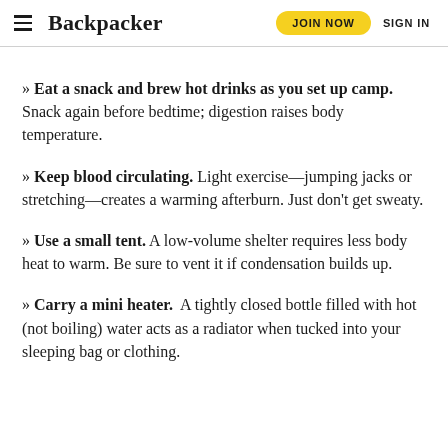Backpacker | JOIN NOW | SIGN IN
» Eat a snack and brew hot drinks as you set up camp. Snack again before bedtime; digestion raises body temperature.
» Keep blood circulating. Light exercise—jumping jacks or stretching—creates a warming afterburn. Just don't get sweaty.
» Use a small tent. A low-volume shelter requires less body heat to warm. Be sure to vent it if condensation builds up.
» Carry a mini heater. A tightly closed bottle filled with hot (not boiling) water acts as a radiator when tucked into your sleeping bag or clothing.